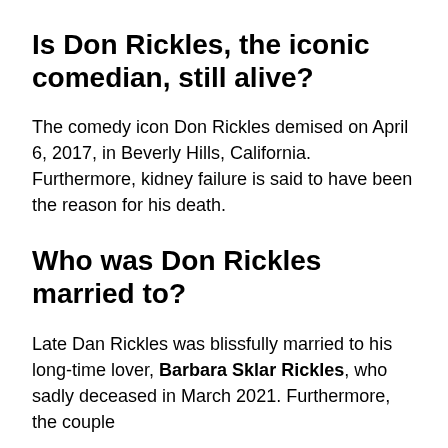Is Don Rickles, the iconic comedian, still alive?
The comedy icon Don Rickles demised on April 6, 2017, in Beverly Hills, California. Furthermore, kidney failure is said to have been the reason for his death.
Who was Don Rickles married to?
Late Dan Rickles was blissfully married to his long-time lover, Barbara Sklar Rickles, who sadly deceased in March 2021. Furthermore, the couple